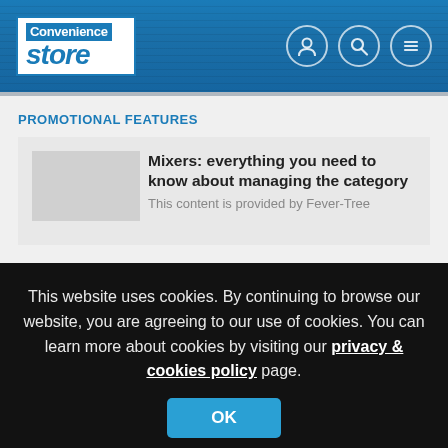Convenience Store
PROMOTIONAL FEATURES
Mixers: everything you need to know about managing the category
This content is provided by Fever-Tree
This website uses cookies. By continuing to browse our website, you are agreeing to our use of cookies. You can learn more about cookies by visiting our privacy & cookies policy page.
OK
Soft drinks: everything you need to know about managing the category
This content is provided by